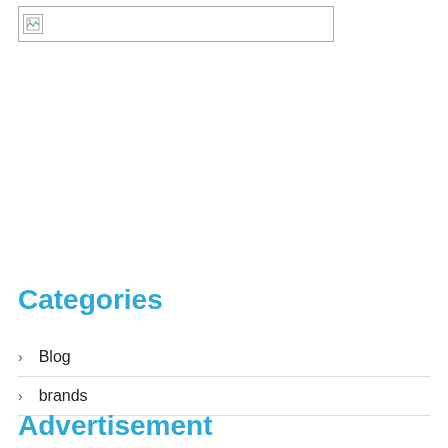[Figure (other): Broken/placeholder image thumbnail with border]
Categories
Blog
brands
Advertisement